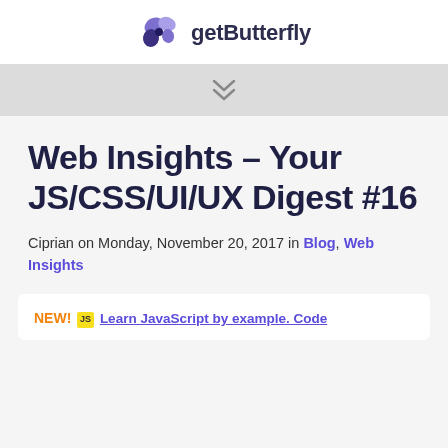getButterfly
[Figure (logo): getButterfly logo with purple butterfly/flower icon and text 'getButterfly']
Web Insights – Your JS/CSS/UI/UX Digest #16
Ciprian on Monday, November 20, 2017 in Blog, Web Insights
NEW! JS Learn JavaScript by example. Code ...